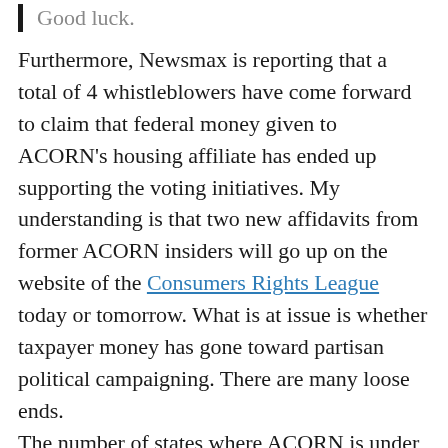Good luck.
Furthermore, Newsmax is reporting that a total of 4 whistleblowers have come forward to claim that federal money given to ACORN's housing affiliate has ended up supporting the voting initiatives. My understanding is that two new affidavits from former ACORN insiders will go up on the website of the Consumers Rights League today or tomorrow. What is at issue is whether taxpayer money has gone toward partisan political campaigning. There are many loose ends.
The number of states where ACORN is under investigation is now in the double-digits. Ms. Mantouvalos is concerned that what happened in the primaries may happen in some form in